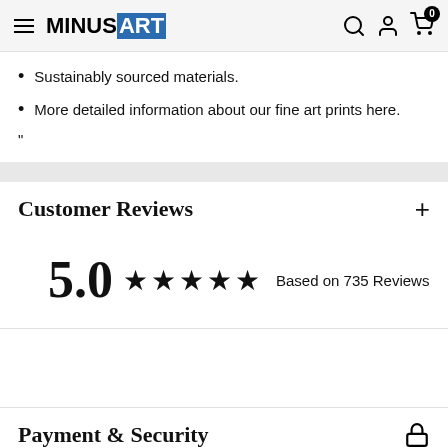MINUS ART
Sustainably sourced materials.
More detailed information about our fine art prints here.
"
Customer Reviews +
5.0 ★★★★★ Based on 735 Reviews
Payment & Security